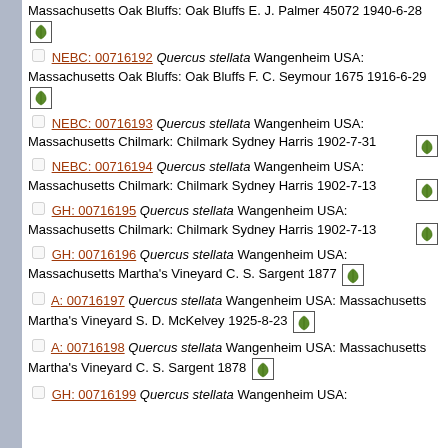Massachusetts Oak Bluffs: Oak Bluffs E. J. Palmer 45072 1940-6-28 [leaf icon]
NEBC: 00716192 Quercus stellata Wangenheim USA: Massachusetts Oak Bluffs: Oak Bluffs F. C. Seymour 1675 1916-6-29 [leaf icon]
NEBC: 00716193 Quercus stellata Wangenheim USA: Massachusetts Chilmark: Chilmark Sydney Harris 1902-7-31 [leaf icon]
NEBC: 00716194 Quercus stellata Wangenheim USA: Massachusetts Chilmark: Chilmark Sydney Harris 1902-7-13 [leaf icon]
GH: 00716195 Quercus stellata Wangenheim USA: Massachusetts Chilmark: Chilmark Sydney Harris 1902-7-13 [leaf icon]
GH: 00716196 Quercus stellata Wangenheim USA: Massachusetts Martha's Vineyard C. S. Sargent 1877 [leaf icon]
A: 00716197 Quercus stellata Wangenheim USA: Massachusetts Martha's Vineyard S. D. McKelvey 1925-8-23 [leaf icon]
A: 00716198 Quercus stellata Wangenheim USA: Massachusetts Martha's Vineyard C. S. Sargent 1878 [leaf icon]
GH: 00716199 Quercus stellata Wangenheim USA: